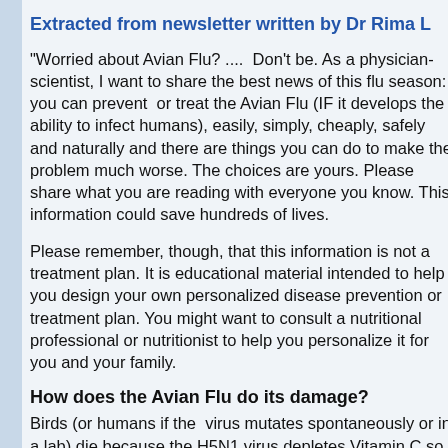Extracted from newsletter written by Dr Rima L
"Worried about Avian Flu? ....  Don't be. As a physician-scientist, I want to share the best news of this flu season: you can prevent  or treat the Avian Flu (IF it develops the ability to infect humans), easily, simply, cheaply, safely and naturally and there are things you can do to make the problem much worse. The choices are yours. Please share what you are reading with everyone you know. This information could save hundreds of lives.
Please remember, though, that this information is not a treatment plan. It is educational material intended to help you design your own personalized disease prevention or treatment plan. You might want to consult a nutritional professional or nutritionist to help you personalize it for you and your family.
How does the Avian Flu do its damage?
Birds (or humans if the  virus mutates spontaneously or in a lab) die because the H5N1 virus depletes Vitamin C so quickly that the cause of death is fulminate scurvy.